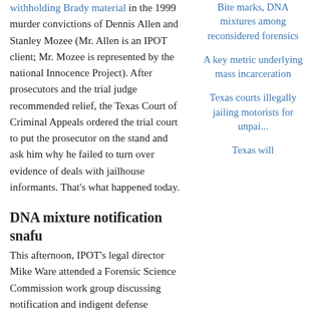withholding Brady material in the 1999 murder convictions of Dennis Allen and Stanley Mozee (Mr. Allen is an IPOT client; Mr. Mozee is represented by the national Innocence Project). After prosecutors and the trial judge recommended relief, the Texas Court of Criminal Appeals ordered the trial court to put the prosecutor on the stand and ask him why he failed to turn over evidence of deals with jailhouse informants. That's what happened today.
DNA mixture notification snafu
This afternoon, IPOT's legal director Mike Ware attended a Forensic Science Commission work group discussing notification and indigent defense challenges related to defendants convicted based on erroneous DNA mixture protocols. (See prior Grits coverage.)
Exoneration Commission: What
Bite marks, DNA mixtures among reconsidered forensics
A key metric underlying mass incarceration
Texas courts illegally jailing motorists for unpai...
Texas will